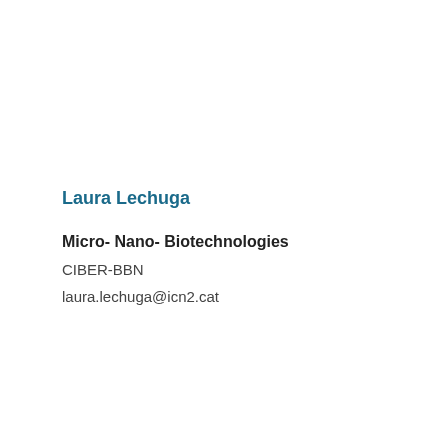Laura Lechuga
Micro- Nano- Biotechnologies
CIBER-BBN
laura.lechuga@icn2.cat